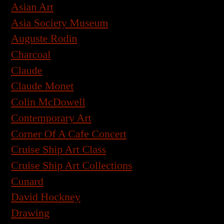Asian Art
Asia Society Museum
Auguste Rodin
Charcoal
Claude
Claude Monet
Colin McDowell
Contemporary Art
Corner Of A Cafe Concert
Cruise Ship Art Class
Cruise Ship Art Collections
Cunard
David Hockney
Drawing
Edouard Manet
Exhibition Review
Fashion Illustration
Fashion Week
Fine Art